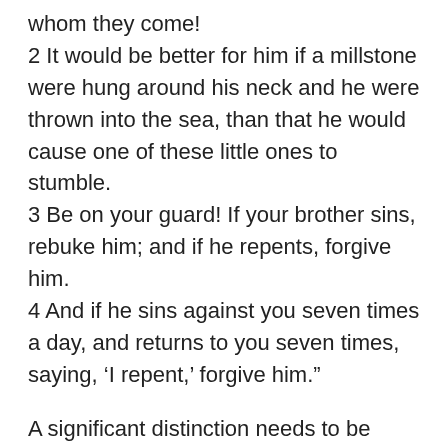whom they come!
2 It would be better for him if a millstone were hung around his neck and he were thrown into the sea, than that he would cause one of these little ones to stumble.
3 Be on your guard! If your brother sins, rebuke him; and if he repents, forgive him.
4 And if he sins against you seven times a day, and returns to you seven times, saying, ‘I repent,’ forgive him.”
A significant distinction needs to be drawn in this matter. While we can forgive sins against us because as God commands we are to love our neighbor as ourselves. It’s through love & mercy that forgiveness comes. What we cannot do is blot out sin. This is the Divine prerogative.